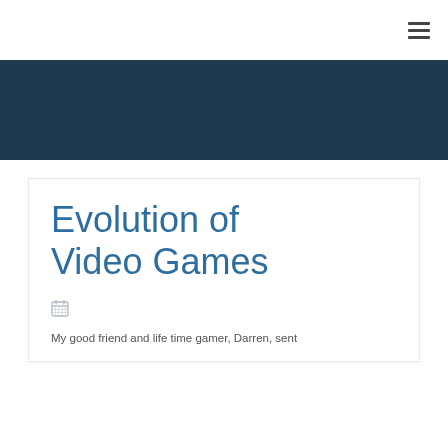Evolution of Video Games
My good friend and life time gamer, Darren, sent